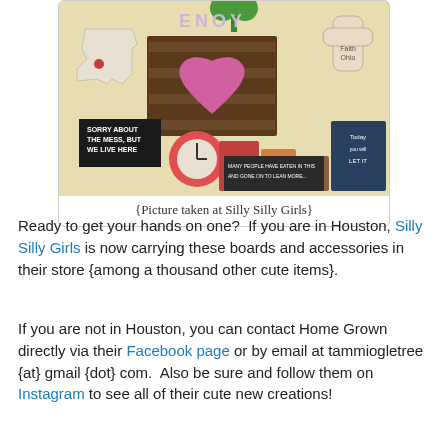[Figure (photo): Photo of craft store display with decorative items including a wooden board with a pink heart, Texas-shaped sign, shamrock decoration, cross-shaped plaque, a small 'Sorry About The Mess But We Live Here' sign, clocks, candles, and other gift items at Silly Silly Girls store.]
{Picture taken at Silly Silly Girls}
Ready to get your hands on one?  If you are in Houston, Silly Silly Girls is now carrying these boards and accessories in their store {among a thousand other cute items}.
If you are not in Houston, you can contact Home Grown directly via their Facebook page or by email at tammiogletree {at} gmail {dot} com.  Also be sure and follow them on Instagram to see all of their cute new creations!